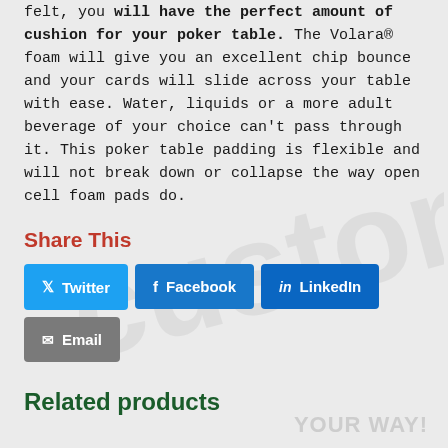felt, you will have the perfect amount of cushion for your poker table. The Volara® foam will give you an excellent chip bounce and your cards will slide across your table with ease. Water, liquids or a more adult beverage of your choice can't pass through it. This poker table padding is flexible and will not break down or collapse the way open cell foam pads do.
Share This
Twitter
Facebook
LinkedIn
Email
Related products